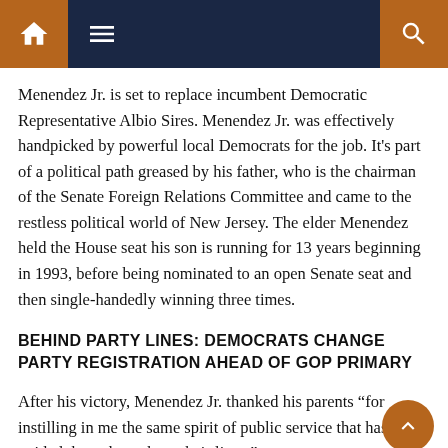Navigation bar with home, menu, and search icons
Menendez Jr. is set to replace incumbent Democratic Representative Albio Sires. Menendez Jr. was effectively handpicked by powerful local Democrats for the job. It's part of a political path greased by his father, who is the chairman of the Senate Foreign Relations Committee and came to the restless political world of New Jersey. The elder Menendez held the House seat his son is running for 13 years beginning in 1993, before being nominated to an open Senate seat and then single-handedly winning three times.
BEHIND PARTY LINES: DEMOCRATS CHANGE PARTY REGISTRATION AHEAD OF GOP PRIMARY
After his victory, Menendez Jr. thanked his parents “for instilling in me the same spirit of public service that has guided them throughout their lives.”